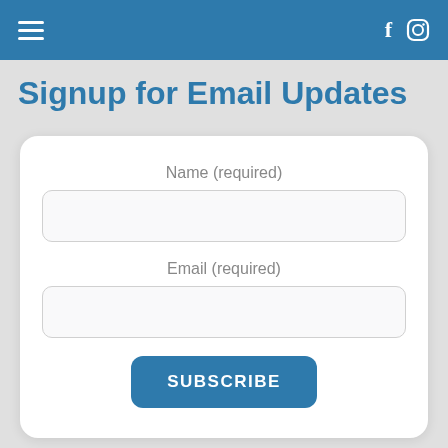Navigation bar with hamburger menu, Facebook and Instagram icons
Signup for Email Updates
Name (required)
Email (required)
SUBSCRIBE